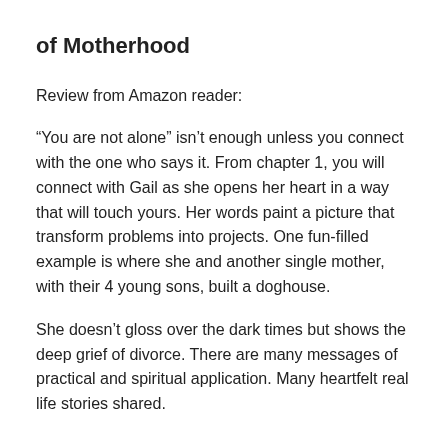of Motherhood
Review from Amazon reader:
“You are not alone” isn’t enough unless you connect with the one who says it. From chapter 1, you will connect with Gail as she opens her heart in a way that will touch yours. Her words paint a picture that transform problems into projects. One fun-filled example is where she and another single mother, with their 4 young sons, built a doghouse.
She doesn’t gloss over the dark times but shows the deep grief of divorce. There are many messages of practical and spiritual application. Many heartfelt real life stories shared.